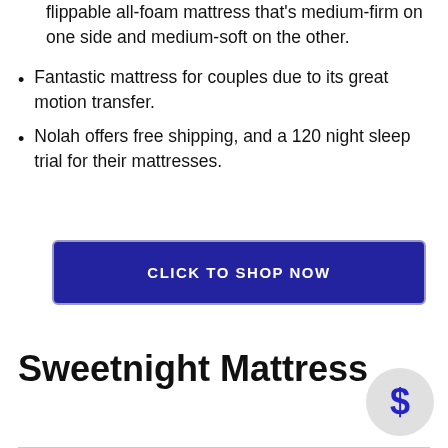flippable all-foam mattress that's medium-firm on one side and medium-soft on the other.
Fantastic mattress for couples due to its great motion transfer.
Nolah offers free shipping, and a 120 night sleep trial for their mattresses.
CLICK TO SHOP NOW
Sweetnight Mattress